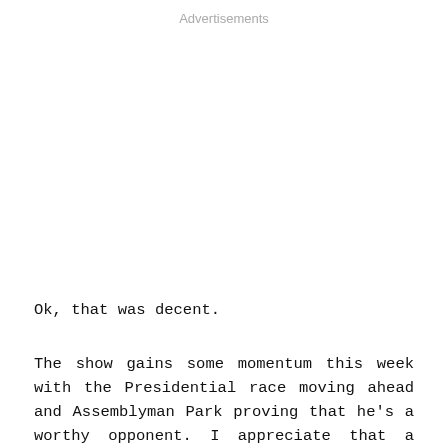Advertisements
Ok, that was decent.
The show gains some momentum this week with the Presidential race moving ahead and Assemblyman Park proving that he's a worthy opponent. I appreciate that a more intricate web of relationships, intentions, and